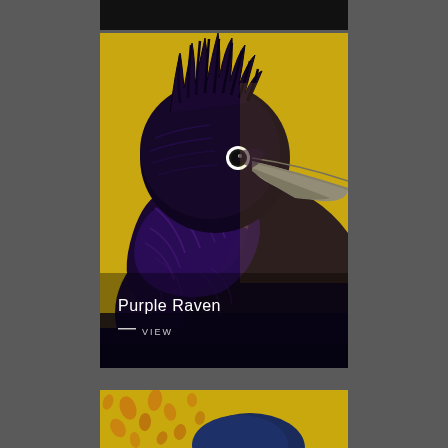[Figure (photo): Partial view of a dark painting with black background, cropped at top of page]
[Figure (illustration): Painting of a Purple Raven bird with dark purple and black feathers against a golden yellow background. The raven is shown from the chest up, with a gray beak, a small circular eye, and ruffled textured feathers. The canvas shows visible brushstroke texture. Text overlay reads 'Purple Raven' and '— VIEW' in white text at the bottom left of the image.]
[Figure (photo): Partial view of another painting at the bottom of the page showing a yellow/golden background with orange leaf-like patterns and a dark blue bird partially visible]